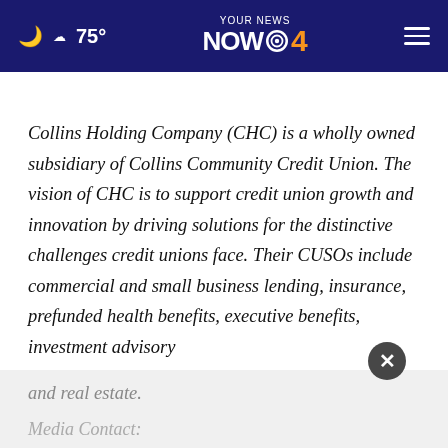75° YOUR NEWS NOW 4
Collins Holding Company (CHC) is a wholly owned subsidiary of Collins Community Credit Union. The vision of CHC is to support credit union growth and innovation by driving solutions for the distinctive challenges credit unions face. Their CUSOs include commercial and small business lending, insurance, prefunded health benefits, executive benefits, investment advisory and real estate.
Media Contact: